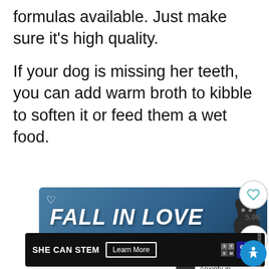formulas available. Just make sure it's high quality.
If your dog is missing her teeth, you can add warm broth to kibble to soften it or feed them a wet food.
[Figure (other): Advertisement banner reading 'FALL IN LOVE' with a dog image, teal heart icon, and close button]
[Figure (other): Sidebar social interaction buttons: heart icon with 5.9K count, share button]
[Figure (other): WHAT'S NEXT navigation widget: dog silhouette thumbnail, text 'Separation Anxiety in...']
[Figure (other): Advertisement banner: SHE CAN STEM with Learn More button and Ad Council logo]
[Figure (other): Accessibility button - blue circular icon with person symbol]